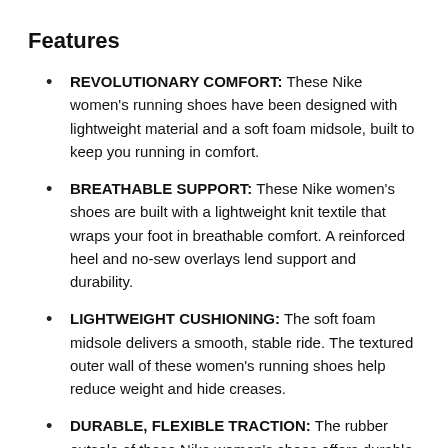Features
REVOLUTIONARY COMFORT: These Nike women's running shoes have been designed with lightweight material and a soft foam midsole, built to keep you running in comfort.
BREATHABLE SUPPORT: These Nike women's shoes are built with a lightweight knit textile that wraps your foot in breathable comfort. A reinforced heel and no-sew overlays lend support and durability.
LIGHTWEIGHT CUSHIONING: The soft foam midsole delivers a smooth, stable ride. The textured outer wall of these women's running shoes help reduce weight and hide creases.
DURABLE, FLEXIBLE TRACTION: The rubber outsole of these Nike women's shoes offers durable traction the...